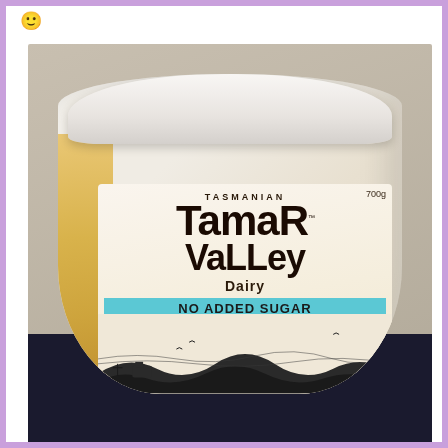[Figure (photo): A 700g tub of Tasmanian Tamar Valley Dairy No Added Sugar Low Fat Greek Style Yoghurt Passionfruit flavour, sitting on a dark surface. The white-lidded container shows the brand label with teal accent bar and scenic Tasmanian illustration at the base.]